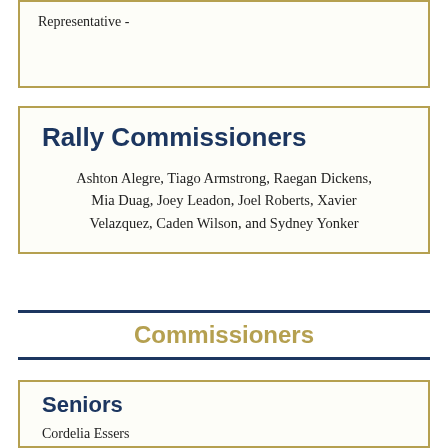Representative -
Rally Commissioners
Ashton Alegre, Tiago Armstrong, Raegan Dickens, Mia Duag, Joey Leadon, Joel Roberts, Xavier Velazquez, Caden Wilson, and Sydney Yonker
Commissioners
Seniors
Cordelia Essers
Kiley Freitas